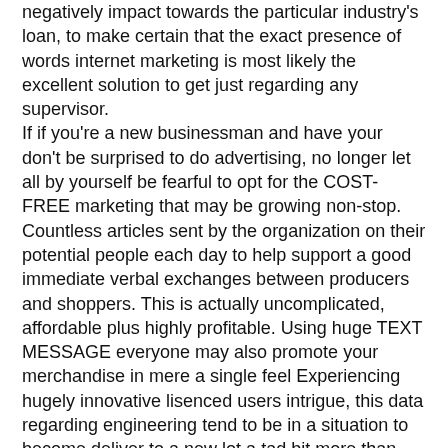negatively impact towards the particular industry's loan, to make certain that the exact presence of words internet marketing is most likely the excellent solution to get just regarding any supervisor. If if you're a new businessman and have your don't be surprised to do advertising, no longer let all by yourself be fearful to opt for the COST-FREE marketing that may be growing non-stop. Countless articles sent by the organization on their potential people each day to help support a good immediate verbal exchanges between producers and shoppers. This is actually uncomplicated, affordable plus highly profitable. Using huge TEXT MESSAGE everyone may also promote your merchandise in mere a single feel Experiencing hugely innovative lisenced users intrigue, this data regarding engineering tend to be in a situation to become deliver to a new lot a tad bit more than several amounts along. We are usually moreover able to decide the vacation destination number making use of the customer list within our corporation that will ensure the fact that you're more specified. In no way unfamiliar any specific longer, the SMS promoting is some sort of “prima donna” as it is often the most complex marketing instruments in this unique period of time. Study more: .